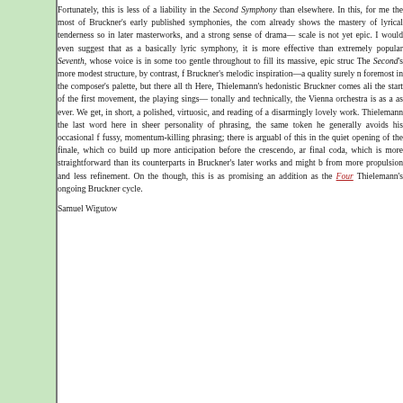Fortunately, this is less of a liability in the Second Symphony than elsewhere. In this, for me the most of Bruckner's early published symphonies, the com already shows the mastery of lyrical tenderness so in later masterworks, and a strong sense of drama— scale is not yet epic. I would even suggest that as a basically lyric symphony, it is more effective than extremely popular Seventh, whose voice is in some too gentle throughout to fill its massive, epic struc The Second's more modest structure, by contrast, f Bruckner's melodic inspiration—a quality surely n foremost in the composer's palette, but there all th Here, Thielemann's hedonistic Bruckner comes ali the start of the first movement, the playing sings— tonally and technically, the Vienna orchestra is as a as ever. We get, in short, a polished, virtuosic, and reading of a disarmingly lovely work. Thielemann the last word here in sheer personality of phrasing, the same token he generally avoids his occasional f fussy, momentum-killing phrasing; there is arguabl of this in the quiet opening of the finale, which co build up more anticipation before the crescendo, ar final coda, which is more straightforward than its counterparts in Bruckner's later works and might b from more propulsion and less refinement. On the though, this is as promising an addition as the Four Thielemann's ongoing Bruckner cycle.
Samuel Wigutow